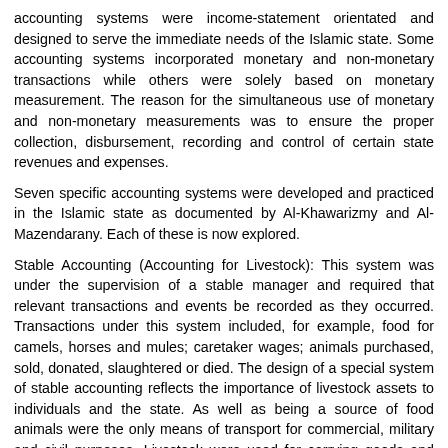accounting systems were income-statement orientated and designed to serve the immediate needs of the Islamic state. Some accounting systems incorporated monetary and non-monetary transactions while others were solely based on monetary measurement. The reason for the simultaneous use of monetary and non-monetary measurements was to ensure the proper collection, disbursement, recording and control of certain state revenues and expenses.
Seven specific accounting systems were developed and practiced in the Islamic state as documented by Al-Khawarizmy and Al-Mazendarany. Each of these is now explored.
Stable Accounting (Accounting for Livestock): This system was under the supervision of a stable manager and required that relevant transactions and events be recorded as they occurred. Transactions under this system included, for example, food for camels, horses and mules; caretaker wages; animals purchased, sold, donated, slaughtered or died. The design of a special system of stable accounting reflects the importance of livestock assets to individuals and the state. As well as being a source of food animals were the only means of transport for commercial, military and civil purposes. Livestock were used for carrying goods and persons across the Muslim world and beyond, and were especially important to communities that had no access to sea ports.
Although stable accounting was designed for the state's use, its application in the private sector was likely because a significant proportion of the population were engaged in the business of livestock, either for consumption or transportation and the need for a system of recording and measuring annual profits for the purpose of calculating payment of zakat. This is similar to current-day practices where "major incentives to the